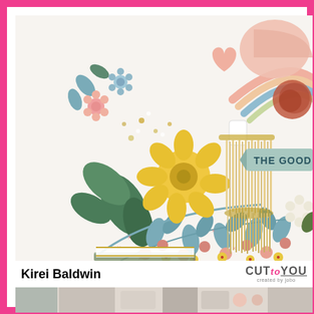[Figure (photo): Close-up photo of a scrapbooking/craft layout by Kirei Baldwin featuring floral paper embellishments, a rainbow die-cut, a large tassel, sequins, and a banner reading 'THE GOOD']
Kirei Baldwin
[Figure (logo): CUTtoYOU logo with pink 'to' and grey CUT and YOU text, with tagline 'created by jobo']
[Figure (photo): Bottom partial strip showing another craft layout]